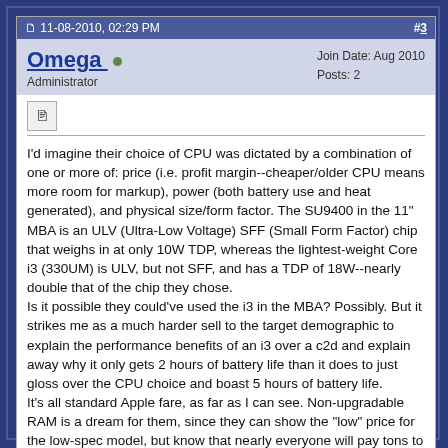11-08-2010, 02:29 PM   #3
Omega  Administrator   Join Date: Aug 2010  Posts: 2
I'd imagine their choice of CPU was dictated by a combination of one or more of: price (i.e. profit margin--cheaper/older CPU means more room for markup), power (both battery use and heat generated), and physical size/form factor. The SU9400 in the 11" MBA is an ULV (Ultra-Low Voltage) SFF (Small Form Factor) chip that weighs in at only 10W TDP, whereas the lightest-weight Core i3 (330UM) is ULV, but not SFF, and has a TDP of 18W--nearly double that of the chip they chose.
Is it possible they could've used the i3 in the MBA? Possibly. But it strikes me as a much harder sell to the target demographic to explain the performance benefits of an i3 over a c2d and explain away why it only gets 2 hours of battery life than it does to just gloss over the CPU choice and boast 5 hours of battery life.
It's all standard Apple fare, as far as I can see. Non-upgradable RAM is a dream for them, since they can show the "low" price for the low-spec model, but know that nearly everyone will pay tons to upgrade to the model with reasonable RAM. It's possible it was even necessary to fit into the space constraints. You might also find people